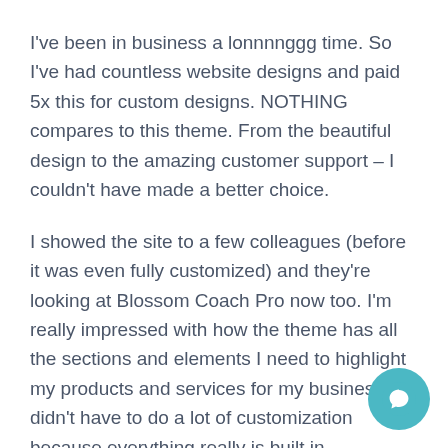I've been in business a lonnnnggg time. So I've had countless website designs and paid 5x this for custom designs. NOTHING compares to this theme. From the beautiful design to the amazing customer support – I couldn't have made a better choice.
I showed the site to a few colleagues (before it was even fully customized) and they're looking at Blossom Coach Pro now too. I'm really impressed with how the theme has all the sections and elements I need to highlight my products and services for my business. I didn't have to do a lot of customization because everything really is built in.
Plus I was able to integrate all the tools I use to